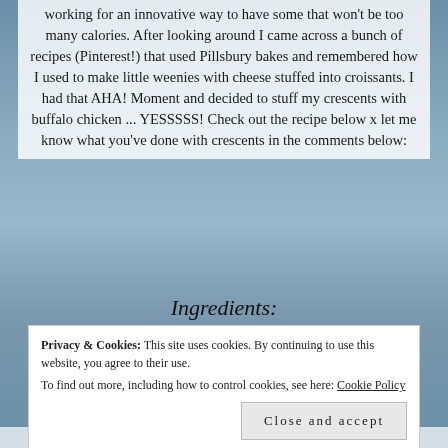working for an innovative way to have some that won't be too many calories. After looking around I came across a bunch of recipes (Pinterest!) that used Pillsbury bakes and remembered how I used to make little weenies with cheese stuffed into croissants. I had that AHA! Moment and decided to stuff my crescents with buffalo chicken ... YESSSSS! Check out the recipe below x let me know what you've done with crescents in the comments below:
Ingredients:
Privacy & Cookies: This site uses cookies. By continuing to use this website, you agree to their use.
To find out more, including how to control cookies, see here: Cookie Policy
Close and accept
Shredded Cheddar cheese